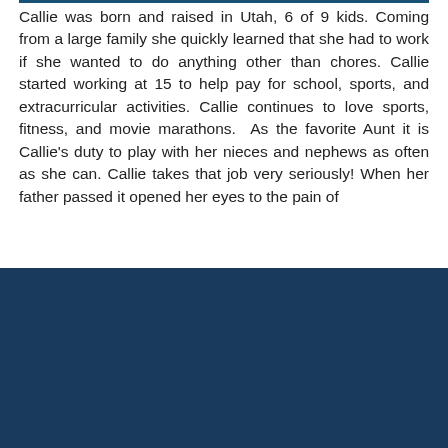Callie was born and raised in Utah, 6 of 9 kids. Coming from a large family she quickly learned that she had to work if she wanted to do anything other than chores. Callie started working at 15 to help pay for school, sports, and extracurricular activities. Callie continues to love sports, fitness, and movie marathons. As the favorite Aunt it is Callie's duty to play with her nieces and nephews as often as she can. Callie takes that job very seriously! When her father passed it opened her eyes to the pain of
[Figure (other): Dark navy blue panel with email subscription form containing an email input field with placeholder 'Enter your email here' and a teal 'Subscribe' button]